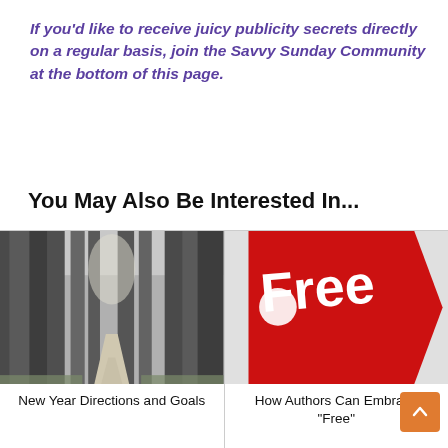If you'd like to receive juicy publicity secrets directly on a regular basis, join the Savvy Sunday Community at the bottom of this page.
You May Also Be Interested In...
[Figure (photo): Black and white photo of a forest path winding through tall trees]
New Year Directions and Goals
[Figure (photo): Red price tag with white text reading 'Free']
How Authors Can Embrace "Free"